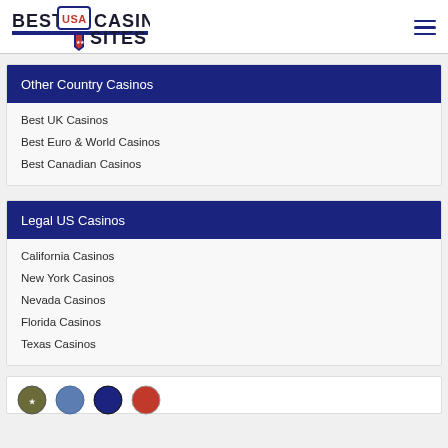Best USA Casino Sites
Other Country Casinos
Best UK Casinos
Best Euro & World Casinos
Best Canadian Casinos
Legal US Casinos
California Casinos
New York Casinos
Nevada Casinos
Florida Casinos
Texas Casinos
[Figure (logo): Row of circular casino brand logos at bottom of page]